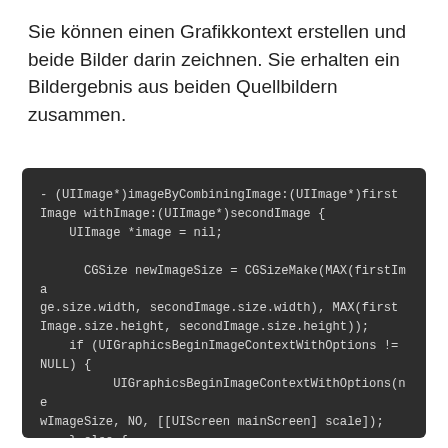Sie können einen Grafikkontext erstellen und beide Bilder darin zeichnen. Sie erhalten ein Bildergebnis aus beiden Quellbildern zusammen.
[Figure (screenshot): Dark-themed code block showing Objective-C method implementation: - (UIImage*)imageByCombiningImage:(UIImage*)firstImage withImage:(UIImage*)secondImage with UIImage creation, CGSize calculation, UIGraphicsBeginImageContextWithOptions conditional, and firstImage drawAtPoint call.]